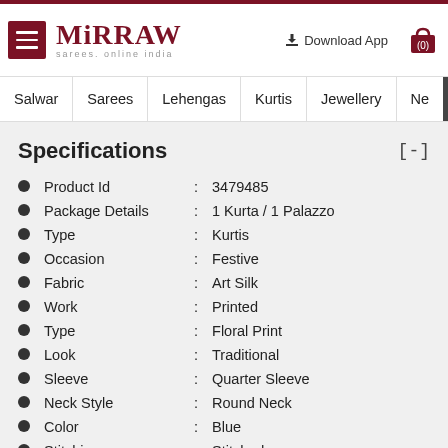Mirraw — sarees, online india
Download App  (0)
Salwar | Sarees | Lehengas | Kurtis | Jewellery | Ne >
Specifications [-]
Product Id : 3479485
Package Details : 1 Kurta / 1 Palazzo
Type : Kurtis
Occasion : Festive
Fabric : Art Silk
Work : Printed
Type : Floral Print
Look : Traditional
Sleeve : Quarter Sleeve
Neck Style : Round Neck
Color : Blue
Stitching : Stitched